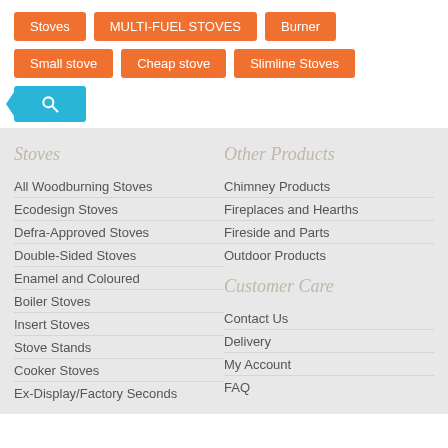Stoves
MULTI-FUEL STOVES
Burner
Small stove
Cheap stove
Slimline Stoves
[Figure (other): Search button with magnifying glass icon on blue background with arrow pointer]
Stoves
All Woodburning Stoves
Ecodesign Stoves
Defra-Approved Stoves
Double-Sided Stoves
Enamel and Coloured
Boiler Stoves
Insert Stoves
Stove Stands
Cooker Stoves
Ex-Display/Factory Seconds
Other Products
Chimney Products
Fireplaces and Hearths
Fireside and Parts
Outdoor Products
Customer Care
Contact Us
Delivery
My Account
FAQ